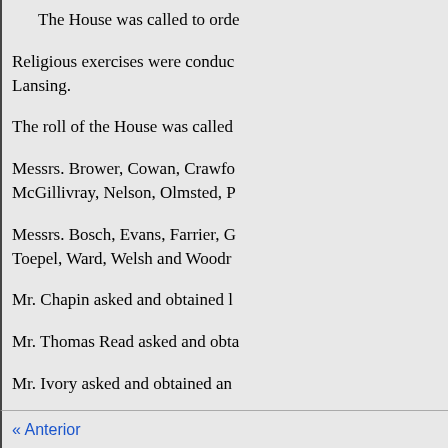The House was called to order
Religious exercises were conducted Lansing.
The roll of the House was called
Messrs. Brower, Cowan, Crawford, McGillivray, Nelson, Olmsted, P
Messrs. Bosch, Evans, Farrier, G Toepel, Ward, Welsh and Woodr
Mr. Chapin asked and obtained l
Mr. Thomas Read asked and obta
Mr. Ivory asked and obtained an
Mr. Wagner asked and obtained a
Mr. Deuel asked and obtained a Home for Girls from tomorrow's
« Anterior